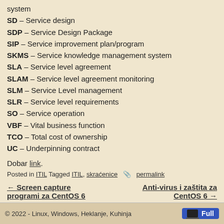system
SD – Service design
SDP – Service Design Package
SIP – Service improvement plan/program
SKMS – Service knowledge management system
SLA – Service level agreement
SLAM – Service level agreement monitoring
SLM – Service Level management
SLR – Service level requirements
SO – Service operation
VBF – Vital business function
TCO – Total cost of ownership
UC – Underpinning contract
Dobar link.
Posted in ITIL Tagged ITIL, skracenice  permalink
← Screen capture programi za CentOS 6    Anti-virus i zaštita za CentOS 6 →
© 2022 - Linux, Windows, Heklanje, Kuhinja